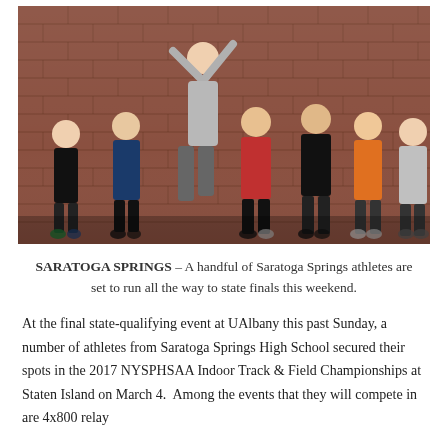[Figure (photo): Group of seven male teenage athletes posing in front of a red brick wall. One athlete in a grey shirt with arms raised is jumping in the air. The others are in athletic wear including black, red, and orange shirts, in running/crouching poses.]
SARATOGA SPRINGS – A handful of Saratoga Springs athletes are set to run all the way to state finals this weekend.
At the final state-qualifying event at UAlbany this past Sunday, a number of athletes from Saratoga Springs High School secured their spots in the 2017 NYSPHSAA Indoor Track & Field Championships at Staten Island on March 4. Among the events that they will compete in are 4x800 relay